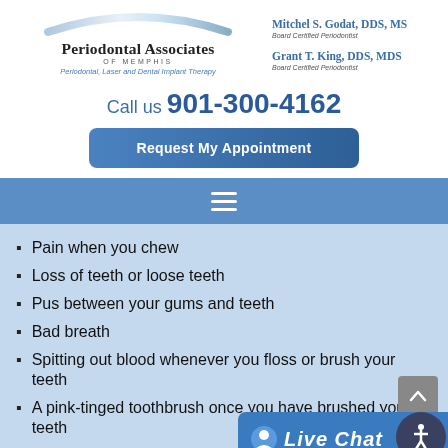[Figure (logo): Periodontal Associates of Memphis logo with arc graphic, names of two board-certified periodontists]
Call us 901-300-4162
Request My Appointment
[Figure (other): Navigation hamburger menu bar in blue]
Pain when you chew
Loss of teeth or loose teeth
Pus between your gums and teeth
Bad breath
Spitting out blood whenever you floss or brush your teeth
A pink-tinged toothbrush once you have brushed your teeth
Gums that bleed with e…